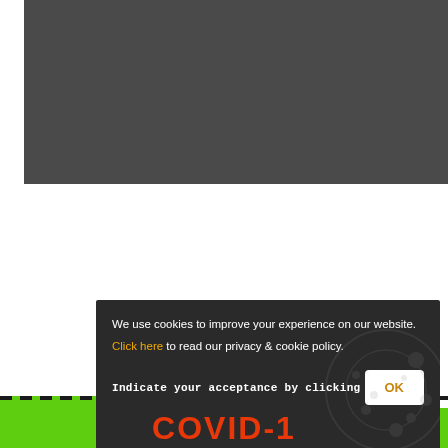[Figure (screenshot): Dark gray image area representing a website screenshot background]
We use cookies to improve your experience on our website. Click here to read our privacy & cookie policy.
Indicate your acceptance by clicking OK